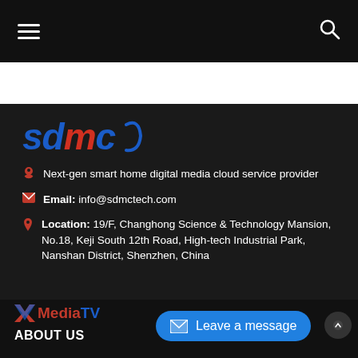Navigation bar with hamburger menu and search icon
[Figure (logo): SDMC company logo in blue and red italic bold text]
Next-gen smart home digital media cloud service provider
Email: info@sdmctech.com
Location: 19/F, Changhong Science & Technology Mansion, No.18, Keji South 12th Road, High-tech Industrial Park, Nanshan District, Shenzhen, China
[Figure (logo): XMediaTV logo with X icon in red and blue]
ABOUT US
Leave a message